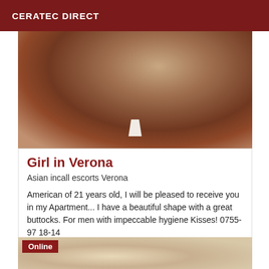CERATEC DIRECT
[Figure (photo): Close-up photo of a person's body]
Girl in Verona
Asian incall escorts Verona
American of 21 years old, I will be pleased to receive you in my Apartment... I have a beautiful shape with a great buttocks. For men with impeccable hygiene Kisses! 0755-97 18-14
[Figure (photo): Partial photo visible at bottom with Online badge]
Online